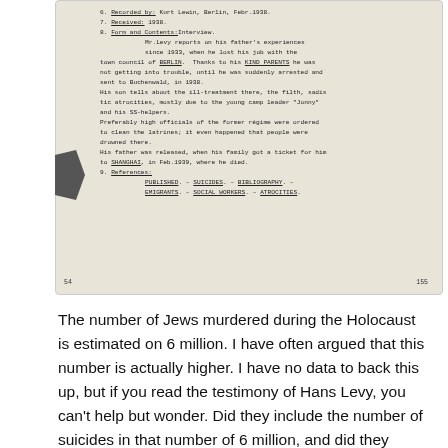[Figure (photo): Scanned typewritten document page showing entries 6-9 of a testimony record. Entry 6: Recorded by Kurt Lewin, Berlin, Febr.1938. Entry 7: Received: 1938. Entry 8: Form and Contents: Interview. Mr.Levy reports on his father's experiences since 1933, when he lost his job with the town council of BERLIN. Thanks to his KIND PARENTS he was not getting into trouble, until he was suddenly arrested and sent to Buchenwald, in 1938. His son tells about the ill-treatment there, the filth, sadistic atrocities, mostly due to the young camp leader 'Jonny' and his SS-helpers. Preferably high officials of the former regime were ordered to clean the latrines; it even happened that people were drowned there. His father was released, when his family got a ticket for him to SHANGHAI, in Feb.1939, where he died. Entry 9: References: PUBLISHED. - SUICIDES. - BIBLIOGRAPHY. - EMIGRANTS. - SOCIAL WORKERS. - ATROCITIES. Page number 155 bottom right, 54 bottom left.]
The number of Jews murdered during the Holocaust is estimated on 6 million. I have often argued that this number is actually higher. I have no data to back this up, but if you read the testimony of Hans Levy, you can't help but wonder. Did they include the number of suicides in that number of 6 million, and did they include the number